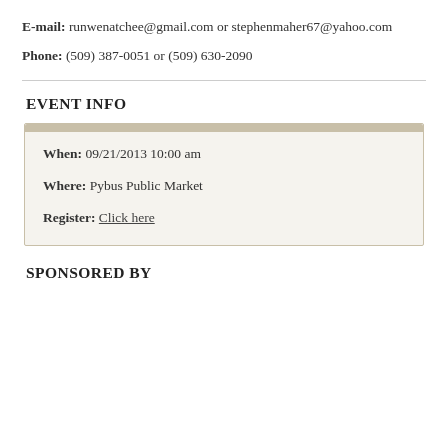E-mail: runwenatchee@gmail.com or stephenmaher67@yahoo.com
Phone: (509) 387-0051 or (509) 630-2090
EVENT INFO
When: 09/21/2013 10:00 am
Where: Pybus Public Market
Register: Click here
SPONSORED BY